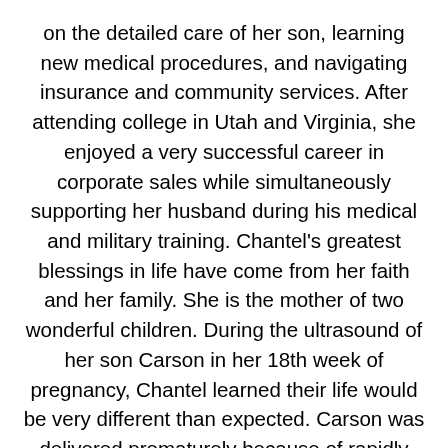on the detailed care of her son, learning new medical procedures, and navigating insurance and community services. After attending college in Utah and Virginia, she enjoyed a very successful career in corporate sales while simultaneously supporting her husband during his medical and military training. Chantel's greatest blessings in life have come from her faith and her family. She is the mother of two wonderful children. During the ultrasound of her son Carson in her 18th week of pregnancy, Chantel learned their life would be very different than expected. Carson was delivered prematurely because of rapidly advancing hydrocephalus. Throughout Carson's eight years of life, he struggled with many disabilities, requiring Chantel to learn and study various disorders, medical procedures, therapies, community services, and hospice care. Chantel quickly adapted to her new path in life and embraced many new roles - caregiver, student, nurse